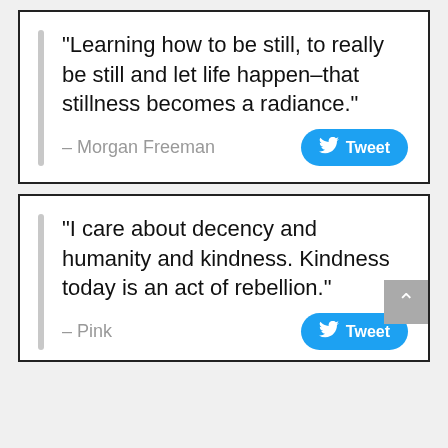“Learning how to be still, to really be still and let life happen–that stillness becomes a radiance.”
– Morgan Freeman
“I care about decency and humanity and kindness. Kindness today is an act of rebellion.”
– Pink